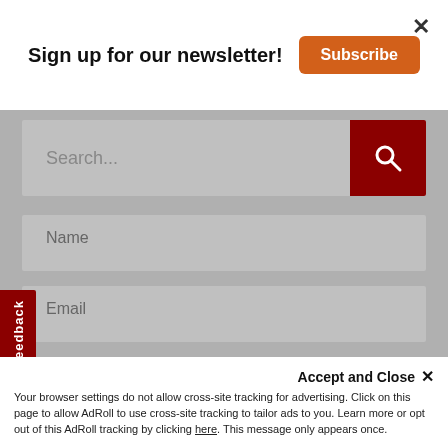Sign up for our newsletter! Subscribe
Search...
Name
Email
Content
Feedback
Accept and Close ✕
Your browser settings do not allow cross-site tracking for advertising. Click on this page to allow AdRoll to use cross-site tracking to tailor ads to you. Learn more or opt out of this AdRoll tracking by clicking here. This message only appears once.